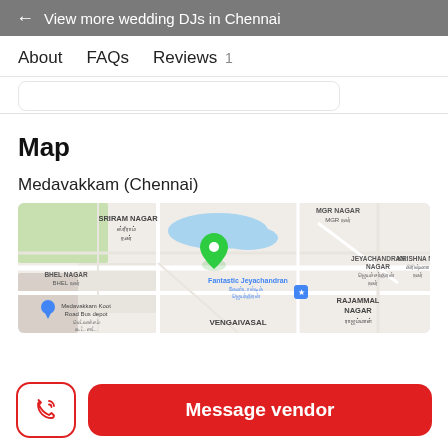← View more wedding DJs in Chennai
About   FAQs   Reviews 1
Map
Medavakkam (Chennai)
[Figure (map): Google Maps view showing Medavakkam area in Chennai, with location pin near Fantastic Jeyachandran. Visible labels include SRIRAM NAGAR, MGR NAGAR, BHEL NAGAR, JEYACHANDRAN NAGAR, KRISHNA NAGAR, RAJAMMAL NAGAR, VENGAIVASAL, Medavakkam Koot Road Bus depot.]
Message vendor